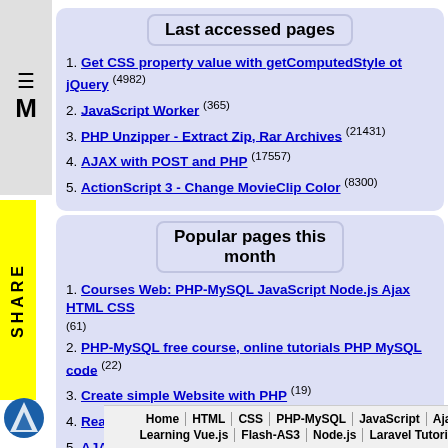Last accessed pages
1. Get CSS property value with getComputedStyle ot jQuery (4982)
2. JavaScript Worker (365)
3. PHP Unzipper - Extract Zip, Rar Archives (21431)
4. AJAX with POST and PHP (17557)
5. ActionScript 3 - Change MovieClip Color (8300)
Popular pages this month
1. Courses Web: PHP-MySQL JavaScript Node.js Ajax HTML CSS (61)
2. PHP-MySQL free course, online tutorials PHP MySQL code (22)
3. Create simple Website with PHP (19)
4. Read Excel file data in PHP - PhpExcelReader (19)
5. AJAX Course, free Lessons (18)
Home | HTML | CSS | PHP-MySQL | JavaScript | Ajax | Learning Vue.js | Flash-AS3 | Node.js | Laravel Tutorials